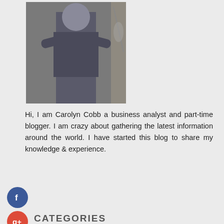[Figure (photo): Photo of Carolyn Cobb, a person with arms crossed standing in front of decorative items]
Hi, I am Carolyn Cobb a business analyst and part-time blogger. I am crazy about gathering the latest information around the world. I have started this blog to share my knowledge & experience.
CATEGORIES
Business And Management
Education
Health and Fitness
Home and Garden
Legal
Marketing and Advertising